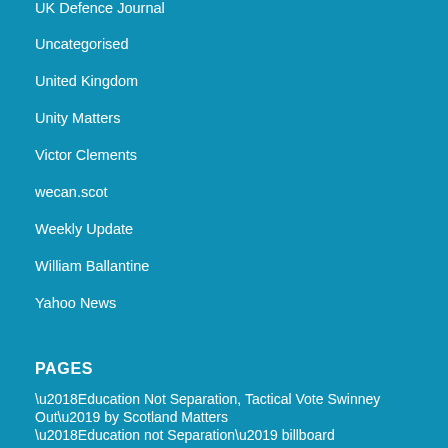UK Defence Journal
Uncategorised
United Kingdom
Unity Matters
Victor Clements
wecan.scot
Weekly Update
William Ballantine
Yahoo News
PAGES
‘Education Not Separation, Tactical Vote Swinney Out’ by Scotland Matters
‘Education not Separation’ billboard
‘Inverclyde Hospital Cuts’ Billboard by Scotland